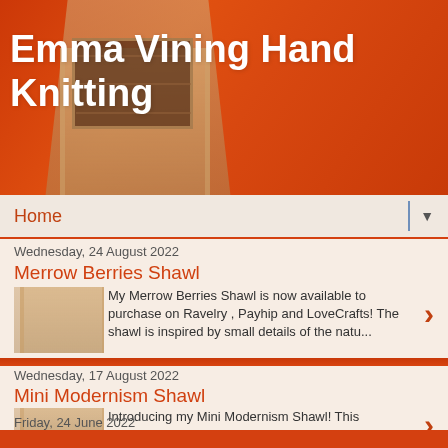Emma Vining Hand Knitting
Home
Wednesday, 24 August 2022
Merrow Berries Shawl
My Merrow Berries Shawl is now available to purchase on Ravelry , Payhip and LoveCrafts! The shawl is inspired by small details of the natu...
Wednesday, 17 August 2022
Mini Modernism Shawl
Introducing my Mini Modernism Shawl!  This lightweight shawl is knitted with two skeins of Garthenor Preseli yarn and this gorgeous light g...
Friday, 24 June 2022